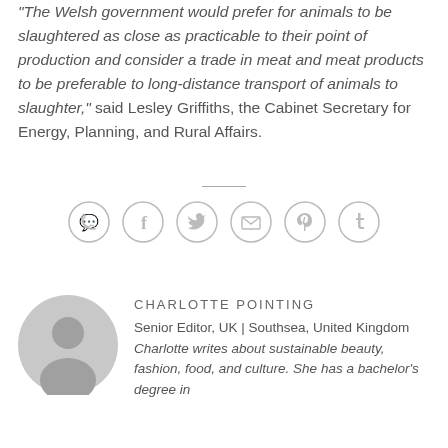"The Welsh government would prefer for animals to be slaughtered as close as practicable to their point of production and consider a trade in meat and meat products to be preferable to long-distance transport of animals to slaughter," said Lesley Griffiths, the Cabinet Secretary for Energy, Planning, and Rural Affairs.
[Figure (other): Social sharing icons: WhatsApp, Facebook, Twitter, Email, Pinterest, Tumblr — each in a light grey circle outline]
[Figure (photo): Grey circular avatar/profile placeholder image showing a stylized person silhouette]
CHARLOTTE POINTING
Senior Editor, UK | Southsea, United Kingdom Charlotte writes about sustainable beauty, fashion, food, and culture. She has a bachelor's degree in